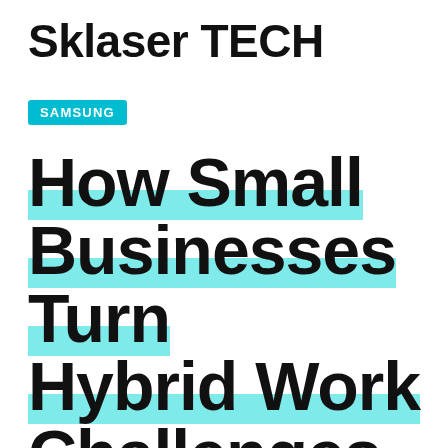Sklaser TECH
SAMSUNG
How Small Businesses Turn Hybrid Work Challenges into Growth Opportunities